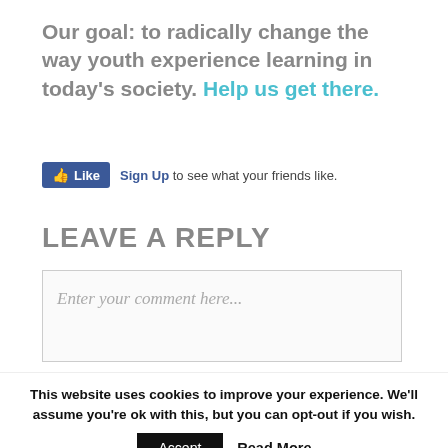Our goal: to radically change the way youth experience learning in today's society. Help us get there.
[Figure (screenshot): Facebook Like button widget with 'Sign Up to see what your friends like.' text]
LEAVE A REPLY
Enter your comment here...
This website uses cookies to improve your experience. We'll assume you're ok with this, but you can opt-out if you wish.